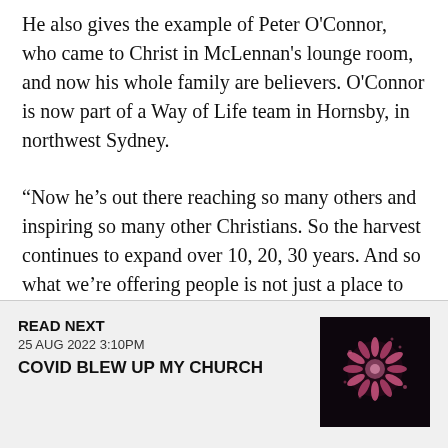He also gives the example of Peter O'Connor, who came to Christ in McLennan's lounge room, and now his whole family are believers. O'Connor is now part of a Way of Life team in Hornsby, in northwest Sydney.
“Now he’s out there reaching so many others and inspiring so many other Christians. So the harvest continues to expand over 10, 20, 30 years. And so what we’re offering people is not just a place to start, but a place to continue and grow from. It’s not a flash-in-the-pan thing,” says McLennan.
READ NEXT
25 AUG 2022 3:10PM
COVID BLEW UP MY CHURCH
[Figure (photo): Dark image showing pink/magenta fireworks or flower-like burst against a dark background]